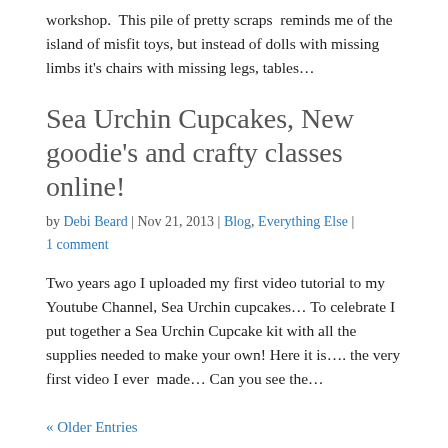workshop.  This pile of pretty scraps  reminds me of the island of misfit toys, but instead of dolls with missing limbs it's chairs with missing legs, tables…
Sea Urchin Cupcakes, New goodie's and crafty classes online!
by Debi Beard | Nov 21, 2013 | Blog, Everything Else | 1 comment
Two years ago I uploaded my first video tutorial to my Youtube Channel, Sea Urchin cupcakes… To celebrate I put together a Sea Urchin Cupcake kit with all the supplies needed to make your own! Here it is…. the very first video I ever  made… Can you see the…
« Older Entries